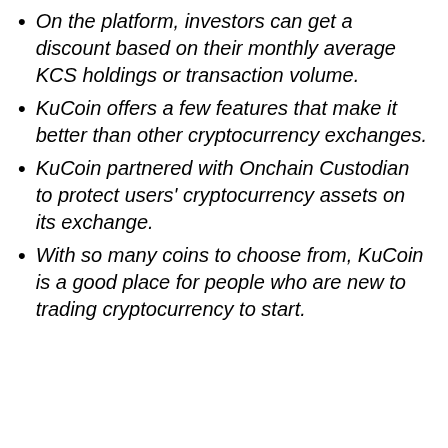On the platform, investors can get a discount based on their monthly average KCS holdings or transaction volume.
KuCoin offers a few features that make it better than other cryptocurrency exchanges.
KuCoin partnered with Onchain Custodian to protect users' cryptocurrency assets on its exchange.
With so many coins to choose from, KuCoin is a good place for people who are new to trading cryptocurrency to start.